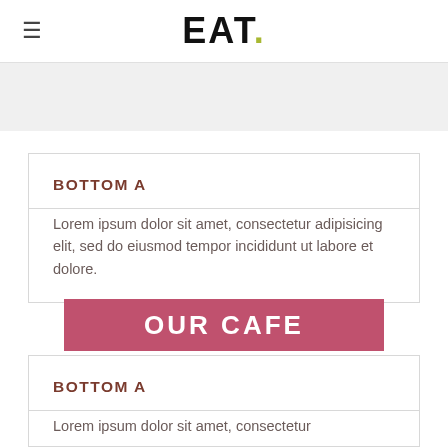EAT.
[Figure (other): Gray hero banner image strip]
BOTTOM A
Lorem ipsum dolor sit amet, consectetur adipisicing elit, sed do eiusmod tempor incididunt ut labore et dolore.
OUR CAFE
BOTTOM A
Lorem ipsum dolor sit amet, consectetur